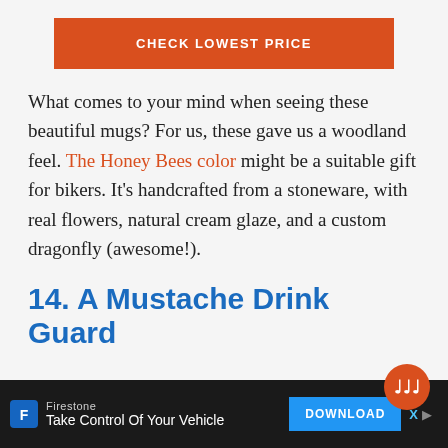[Figure (other): Orange 'CHECK LOWEST PRICE' button]
What comes to your mind when seeing these beautiful mugs? For us, these gave us a woodland feel. The Honey Bees color might be a suitable gift for bikers. It's handcrafted from a stoneware, with real flowers, natural cream glaze, and a custom dragonfly (awesome!).
14. A Mustache Drink Guard
[Figure (other): Advertisement bar at bottom: Firestone - Take Control Of Your Vehicle with Download button]